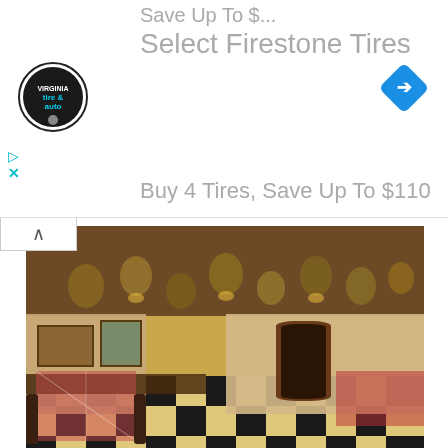[Figure (logo): Firestone Tire & Auto circular logo]
Select Firestone Tires
[Figure (logo): Blue diamond navigation/directions icon]
Buy 4 Tires, Save Up To $110
[Figure (photo): Interior of Giuseppis restaurant showing checkered floor, tables with red-checkered tablecloths, wooden chairs, wall paintings, and hanging lanterns on the ceiling]
Giuseppis was the first Plascencia restaurant, and the first pizzeria in Mexico. (Photo www.grupoplascencia.com)
As you can see, there are plenty of ways to spend a perfect day in Tijuana. Feel free to let El Gringo know what YOUR perfect day in TJ looks like in the comments section below, and DIVERTERSE (have fun)!